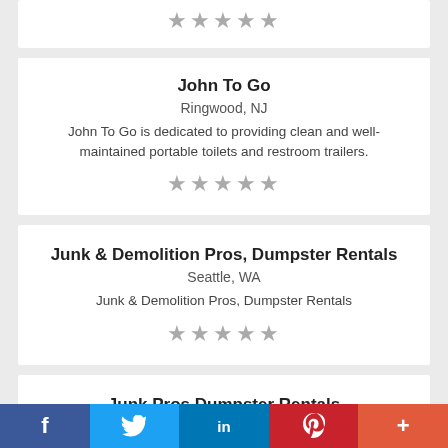[Figure (other): Five empty grey stars rating]
John To Go
Ringwood, NJ
John To Go is dedicated to providing clean and well-maintained portable toilets and restroom trailers.
[Figure (other): Five empty grey stars rating]
Junk & Demolition Pros, Dumpster Rentals
Seattle, WA
Junk & Demolition Pros, Dumpster Rentals
[Figure (other): Five empty grey stars rating]
Junk Pros Dumpster Rentals
f  Twitter  in  P  +